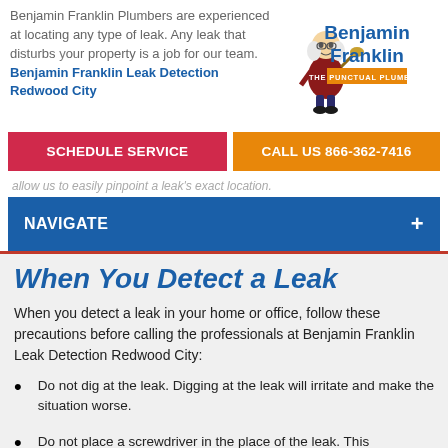Benjamin Franklin Plumbers are experienced at locating any type of leak. Any leak that disturbs your property is a job for our team. Benjamin Franklin Leak Detection Redwood City
[Figure (logo): Benjamin Franklin The Punctual Plumber logo with cartoon figure of Benjamin Franklin holding a plunger]
SCHEDULE SERVICE
CALL US 866-362-7416
allow us to easily pinpoint a leak's exact location.
NAVIGATE
When You Detect a Leak
When you detect a leak in your home or office, follow these precautions before calling the professionals at Benjamin Franklin Leak Detection Redwood City:
Do not dig at the leak. Digging at the leak will irritate and make the situation worse.
Do not place a screwdriver in the place of the leak. This methodology can easily pierce the cross wires or tanks of your system. Instead, locate or call your nearest utilities